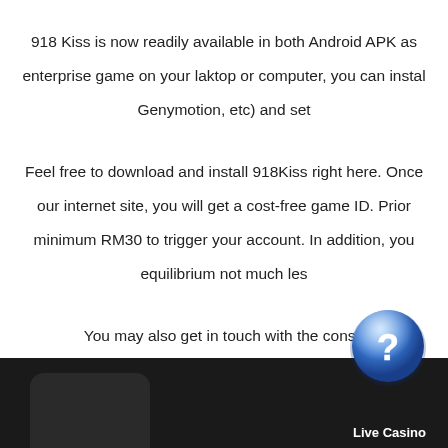918 Kiss is now readily available in both Android APK as enterprise game on your laktop or computer, you can instal Genymotion, etc) and set
Feel free to download and install 918Kiss right here. Once our internet site, you will get a cost-free game ID. Prior minimum RM30 to trigger your account. In addition, you equilibrium not much les
You may also get in touch with the consu
[Figure (illustration): Blue circular help/question mark button icon with 3D glossy effect]
Live Casino